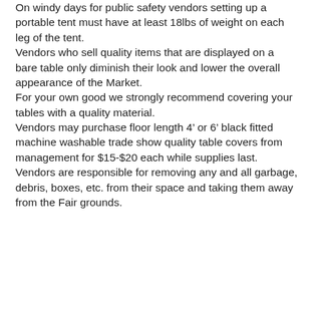On windy days for public safety vendors setting up a portable tent must have at least 18lbs of weight on each leg of the tent.
Vendors who sell quality items that are displayed on a bare table only diminish their look and lower the overall appearance of the Market.
For your own good we strongly recommend covering your tables with a quality material.
Vendors may purchase floor length 4’ or 6’ black fitted machine washable trade show quality table covers from management for $15-$20 each while supplies last.
Vendors are responsible for removing any and all garbage, debris, boxes, etc. from their space and taking them away from the Fair grounds.